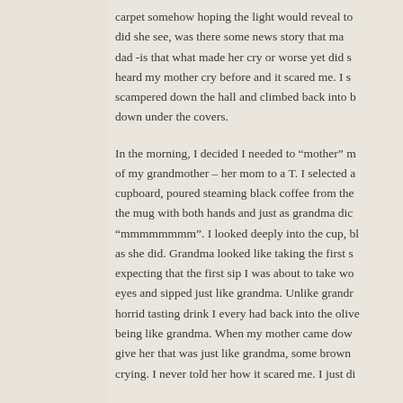carpet somehow hoping the light would reveal to did she see, was there some news story that ma dad -is that what made her cry or worse yet did s heard my mother cry before and it scared me. I s scampered down the hall and climbed back into b down under the covers.
In the morning, I decided I needed to "mother" m of my grandmother – her mom to a T. I selected a cupboard, poured steaming black coffee from the the mug with both hands and just as grandma did "mmmmmmmm". I looked deeply into the cup, bl as she did. Grandma looked like taking the first s expecting that the first sip I was about to take wo eyes and sipped just like grandma. Unlike grandr horrid tasting drink I every had back into the olive being like grandma. When my mother came dow give her that was just like grandma, some brown crying. I never told her how it scared me. I just di